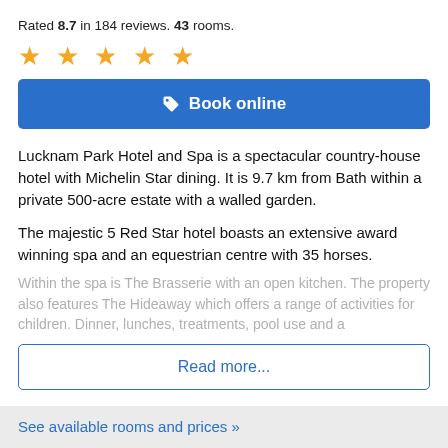Rated 8.7 in 184 reviews. 43 rooms.
★ ★ ★ ★ ★
Book online
Lucknam Park Hotel and Spa is a spectacular country-house hotel with Michelin Star dining. It is 9.7 km from Bath within a private 500-acre estate with a walled garden.
The majestic 5 Red Star hotel boasts an extensive award winning spa and an equestrian centre with 35 horses.
Within the spa is The Brasserie with an open kitchen. The property also features The Hideaway which offers a range of activities for children. Dinner, lunches, treatments, pool use and a
Read more...
See available rooms and prices »